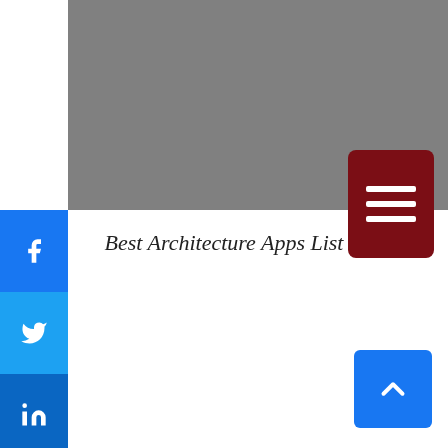[Figure (screenshot): Gray header banner at the top of the page]
[Figure (screenshot): Dark red hamburger menu button with three white horizontal bars]
[Figure (screenshot): Left sidebar with social sharing buttons: Facebook (blue), Twitter (light blue), LinkedIn (dark blue), Copy (dark), and More (+) buttons]
Best Architecture Apps List
[Figure (screenshot): Blue scroll-to-top button with upward chevron arrow in bottom right corner]